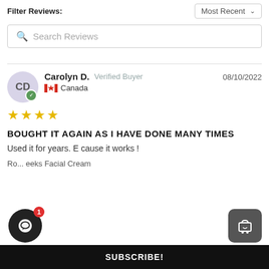Filter Reviews:
Most Recent
Search Reviews
Carolyn D.  Verified Buyer  08/10/2022  Canada
[Figure (other): 5-star rating shown as 4 gold stars]
BOUGHT IT AGAIN AS I HAVE DONE MANY TIMES
Used it for years. E cause it works !
Ro... eeks Facial Cream
SUBSCRIBE!